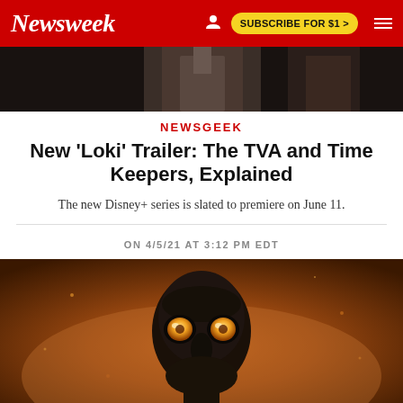Newsweek | SUBSCRIBE FOR $1 >
[Figure (photo): Cropped top portion of a Loki show scene showing a figure in leather clothing against a dark background]
NEWSGEEK
New 'Loki' Trailer: The TVA and Time Keepers, Explained
The new Disney+ series is slated to premiere on June 11.
ON 4/5/21 AT 3:12 PM EDT
[Figure (photo): A dark puppet or character figure with large glowing yellow eyes against a warm amber/orange blurred background, from the Loki Disney+ series]